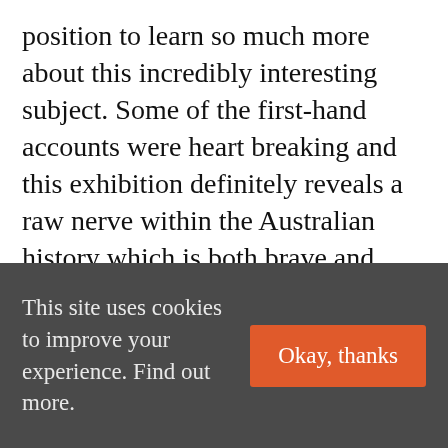position to learn so much more about this incredibly interesting subject. Some of the first-hand accounts were heart breaking and this exhibition definitely reveals a raw nerve within the Australian history which is both brave and necessary.

We managed to lift the mood somewhat with our next visit to Caversham Wildlife Park where you get to hand feed Kangaroos and meet all sorts of native Australian animals
This site uses cookies to improve your experience. Find out more.